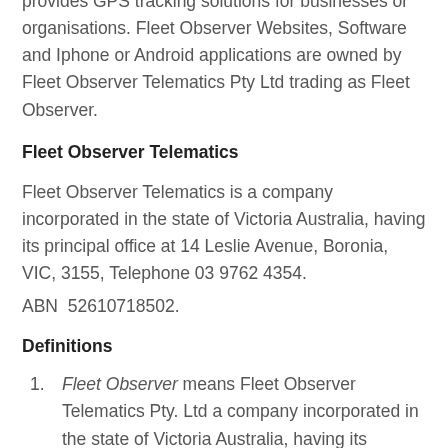provides GPS tracking solutions for businesses or organisations. Fleet Observer Websites, Software and Iphone or Android applications are owned by Fleet Observer Telematics Pty Ltd trading as Fleet Observer.
Fleet Observer Telematics
Fleet Observer Telematics is a company incorporated in the state of Victoria Australia, having its principal office at 14 Leslie Avenue, Boronia, VIC, 3155, Telephone 03 9762 4354.
ABN  52610718502.
Definitions
Fleet Observer means Fleet Observer Telematics Pty. Ltd a company incorporated in the state of Victoria Australia, having its principal office at 14 Leslie Avenue, Boronia, VIC, 3155.